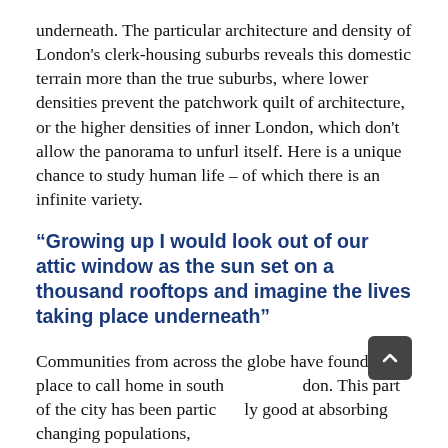underneath. The particular architecture and density of London's clerk-housing suburbs reveals this domestic terrain more than the true suburbs, where lower densities prevent the patchwork quilt of architecture, or the higher densities of inner London, which don't allow the panorama to unfurl itself. Here is a unique chance to study human life – of which there is an infinite variety.
“Growing up I would look out of our attic window as the sun set on a thousand rooftops and imagine the lives taking place underneath”
Communities from across the globe have found a place to call home in south London. This part of the city has been particularly good at absorbing changing populations,